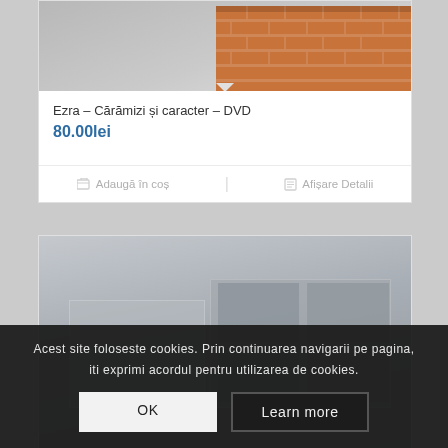[Figure (screenshot): Top portion of a product card showing a brick wall DVD product image (partially visible at top)]
Ezra – Cărămizi și caracter – DVD
80.00lei
Adaugă în coș
Afișare Detalii
[Figure (screenshot): Bottom product card showing a partially visible product with group photo collage images]
Acest site foloseste cookies. Prin continuarea navigarii pe pagina, iti exprimi acordul pentru utilizarea de cookies.
OK
Learn more